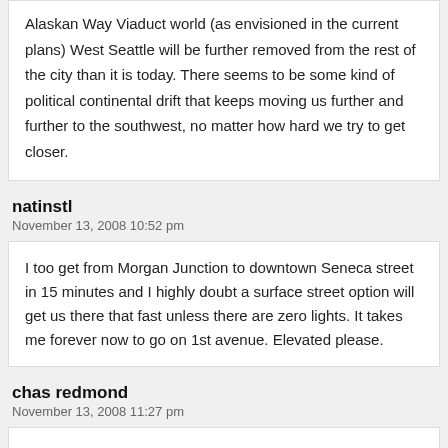Alaskan Way Viaduct world (as envisioned in the current plans) West Seattle will be further removed from the rest of the city than it is today. There seems to be some kind of political continental drift that keeps moving us further and further to the southwest, no matter how hard we try to get closer.
natinstl
November 13, 2008 10:52 pm
I too get from Morgan Junction to downtown Seneca street in 15 minutes and I highly doubt a surface street option will get us there that fast unless there are zero lights. It takes me forever now to go on 1st avenue. Elevated please.
chas redmond
November 13, 2008 11:27 pm
And to be boldly honest, they've violated their tenant of moving people and goods efficiently because under any of the options listed, transit riders from West Seattle lose and from the preliminary review, West Seattle transit riders are the ONLY Seattle neighborhood residents who